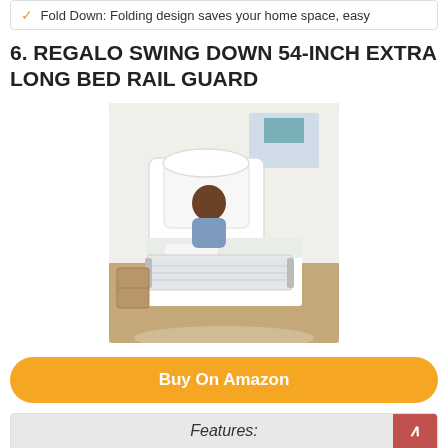Fold Down: Folding design saves your home space, easy
6. REGALO SWING DOWN 54-INCH EXTRA LONG BED RAIL GUARD
[Figure (photo): Photo of a child in bed with a white bed rail guard attached to the side of the bed]
Buy On Amazon
Features:
SWING DOWN: The patented swing down feature allows
EXTRA LONG AND EXTRA SAFE: 54-inches long (hinge
EASY TO SET UP: No tools required